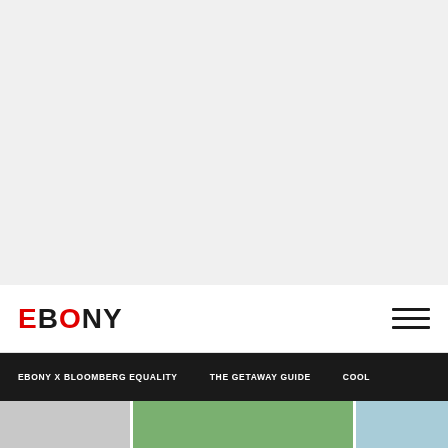[Figure (illustration): Large light gray blank area at top of page]
[Figure (logo): EBONY magazine logo with red 'B', black text on white header bar with hamburger menu icon on right]
EBONY X BLOOMBERG EQUALITY   THE GETAWAY GUIDE   COOL
[Figure (photo): Three partial image thumbnails at bottom: gray image on left, green image in center, light blue image on right]